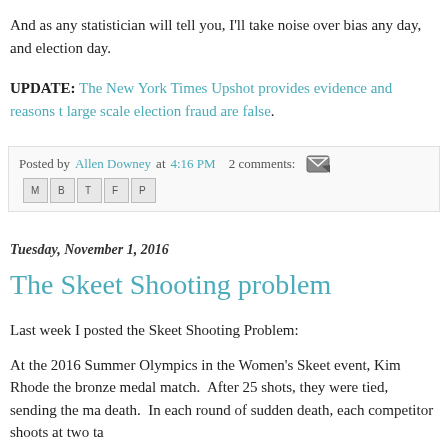And as any statistician will tell you, I'll take noise over bias any day, and election day.
UPDATE: The New York Times Upshot provides evidence and reasons large scale election fraud are false.
Posted by Allen Downey at 4:16 PM  2 comments:
Tuesday, November 1, 2016
The Skeet Shooting problem
Last week I posted the Skeet Shooting Problem:
At the 2016 Summer Olympics in the Women's Skeet event, Kim Rhode the bronze medal match.  After 25 shots, they were tied, sending the ma death.  In each round of sudden death, each competitor shoots at two ta